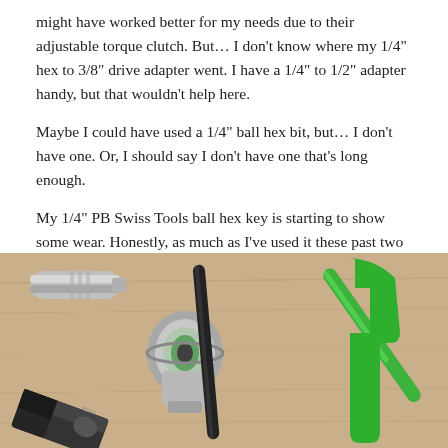might have worked better for my needs due to their adjustable torque clutch. But... I don't know where my 1/4" hex to 3/8" drive adapter went. I have a 1/4" to 1/2" adapter handy, but that wouldn't help here.
Maybe I could have used a 1/4" ball hex bit, but... I don't have one. Or, I should say I don't have one that's long enough.
My 1/4" PB Swiss Tools ball hex key is starting to show some wear. Honestly, as much as I've used it these past two years, I'm impressed, as I expected it to show wear sooner. Still, engagement is spot-on, and as always it was a joy to use.
[Figure (photo): Photo of various tools laid on a wooden surface: a socket extension, a ratchet head with socket, a long black hex bit, a green L-shaped hex key, and part of an adjustable wrench at the bottom left.]